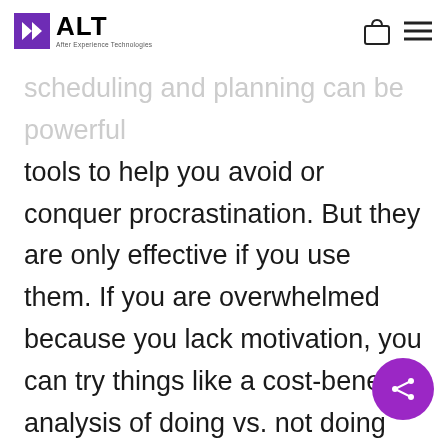ALT - After Experience Technologies
scheduling and planning can be powerful tools to help you avoid or conquer procrastination. But they are only effective if you use them. If you are overwhelmed because you lack motivation, you can try things like a cost-benefit analysis of doing vs. not doing the task. You also can create rewards for yourself, a personal carrot-and-stick approach. If you are disorganized and lost, you might use to-do lists and urgent sticky notes. Unless you create and stick to time-bound goals and tasks you will